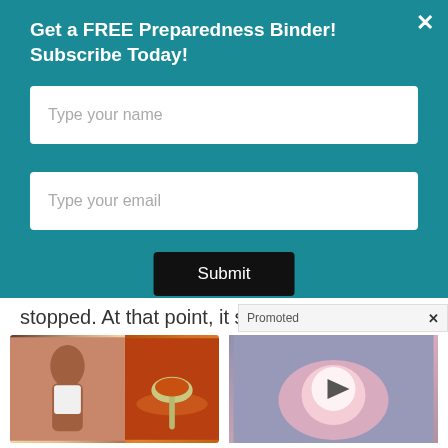Get a FREE Preparedness Binder! Subscribe Today!
Type your name
Type your email
Submit
stopped. At that point, it still to...
Promoted
[Figure (photo): Ad image showing a fit woman and a spoon of spice/seasoning]
A Teaspoon On An Empty Stomach Burns Fat Like Crazy!
🔥 127,616
[Figure (photo): Medical illustration of prostate anatomy with a video play button overlay]
How To Reduce Enlarged Prostates Without Surgery Do This Daily
🔥 220